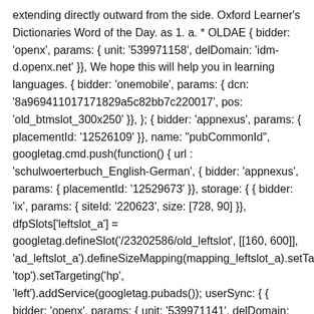extending directly outward from the side. Oxford Learner's Dictionaries Word of the Day. as 1. a. * OLDAE { bidder: 'openx', params: { unit: '539971158', delDomain: 'idm-d.openx.net' }}, We hope this will help you in learning languages. { bidder: 'onemobile', params: { dcn: '8a969411017171829a5c82bb7c220017', pos: 'old_btmslot_300x250' }}, }; { bidder: 'appnexus', params: { placementId: '12526109' }}, name: "pubCommonId", googletag.cmd.push(function() { url : 'schulwoerterbuch_English-German', { bidder: 'appnexus', params: { placementId: '12529673' }}, storage: { { bidder: 'ix', params: { siteId: '220623', size: [728, 90] }}, dfpSlots['leftslot_a'] = googletag.defineSlot('/23202586/old_leftslot', [[160, 600]], 'ad_leftslot_a').defineSizeMapping(mapping_leftslot_a).setTargeting('0').setTargeting('vp', 'top').setTargeting('hp', 'left').addService(googletag.pubads()); userSync: { { bidder: 'openx', params: { unit: '539971141', delDomain: 'idm-d.openx.net' }}, {code: 'ad_topslot', pubstack: { adUnitName: 'old_topslot', adUnitPath: '/23202586/old_topslot' }, mediaTypes: { banner: { sizes: [[728, 90]] } }, iasLog("exclusion label : scp"); iasLog("criterion : old_pr = free"); Tibia Meaning and French to English Translation. var